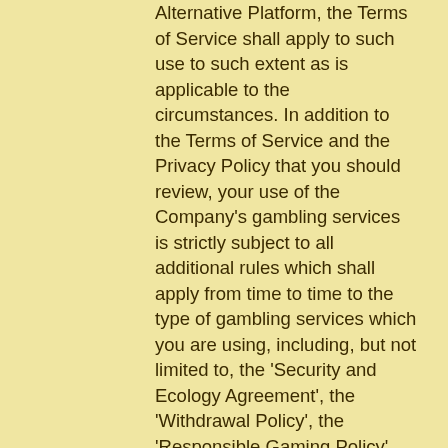Alternative Platform, the Terms of Service shall apply to such use to such extent as is applicable to the circumstances. In addition to the Terms of Service and the Privacy Policy that you should review, your use of the Company's gambling services is strictly subject to all additional rules which shall apply from time to time to the type of gambling services which you are using, including, but not limited to, the 'Security and Ecology Agreement', the 'Withdrawal Policy', the 'Responsible Gaming Policy', the 'House Rules'(together the 'GGPoker Rules') in each case as updated from time to time, bitstarz28.com промокод. The Terms of Service together with the Privacy Policy and the GGPoker Rules, which are deemed to be an integral part hereof, constitute a binding legal document between you and the Company (together the 'User Agreement'). By registering with the Company and/or by using the Company's gambling services